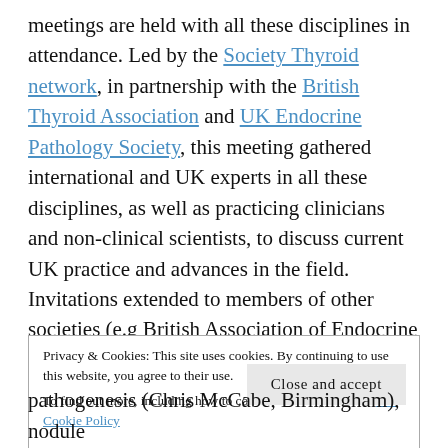meetings are held with all these disciplines in attendance. Led by the Society Thyroid network, in partnership with the British Thyroid Association and UK Endocrine Pathology Society, this meeting gathered international and UK experts in all these disciplines, as well as practicing clinicians and non-clinical scientists, to discuss current UK practice and advances in the field. Invitations extended to members of other societies (e.g British Association of Endocrine and Thyroid Surgeons) and patient groups (British Thyroid Foundation, Butterfly Thyroid Cancer Trust) interested in the field.
Privacy & Cookies: This site uses cookies. By continuing to use this website, you agree to their use. To find out more, including how to control cookies, see here: Our Cookie Policy
pathogenesis (Chris McCabe, Birmingham), nodule